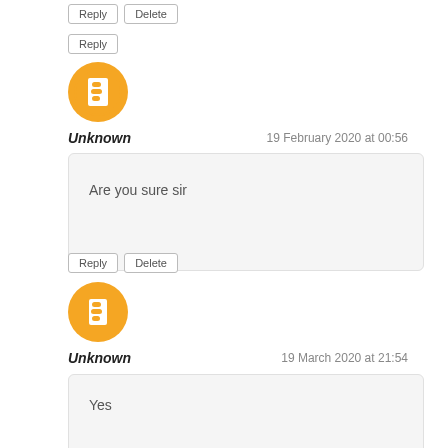[Figure (other): Blogger avatar icon - orange circle with white B logo]
Unknown
19 February 2020 at 00:56
Are you sure sir
Reply
Delete
[Figure (other): Blogger avatar icon - orange circle with white B logo]
Unknown
19 March 2020 at 21:54
Yes